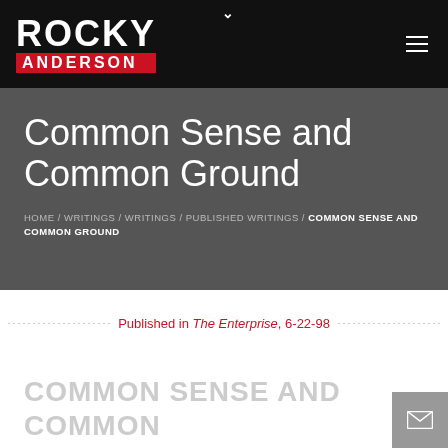ROCKY ANDERSON
Common Sense and Common Ground
HOME / WRITINGS / WRITINGS / PUBLISHED WRITINGS / COMMON SENSE AND COMMON GROUND
Published in The Enterprise, 6-22-98
COMMON SENSE AND COMMON GROUND